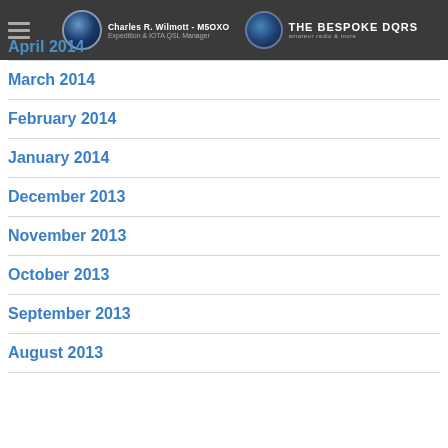Charles R. Wilmott - M5OXO | Expedition & IOTA QSL Manager | THE BESPOKE DQRS
April 2014
March 2014
February 2014
January 2014
December 2013
November 2013
October 2013
September 2013
August 2013